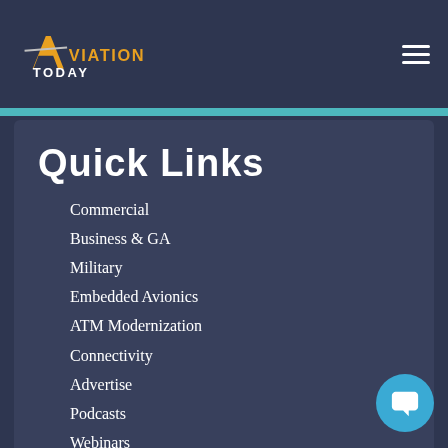Aviation Today
Quick Links
Commercial
Business & GA
Military
Embedded Avionics
ATM Modernization
Connectivity
Advertise
Podcasts
Webinars
Subscribe to Avionics